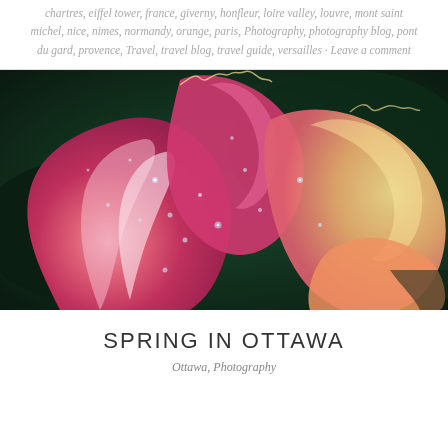chartres, eiffel tower, france, giverny, honfleur, loire valley, louvre, mont saint michel, nice, nimes, normandy, orange, paris, Photography, photography blog, pont du gard, provence, Travel, travel blog, travel guide, versailles · Leave a comment
[Figure (photo): Close-up macro photograph of a pink and yellow parrot tulip with water droplets on the ruffled petals, set against a dark green blurred background]
SPRING IN OTTAWA
Ottawa, Photography